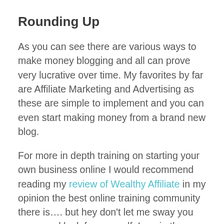Rounding Up
As you can see there are various ways to make money blogging and all can prove very lucrative over time. My favorites by far are Affiliate Marketing and Advertising as these are simple to implement and you can even start making money from a brand new blog.
For more in depth training on starting your own business online I would recommend reading my review of Wealthy Affiliate in my opinion the best online training community there is.... but hey don’t let me sway you come and look for yourself, I am in there helping others most days so come and say hi.